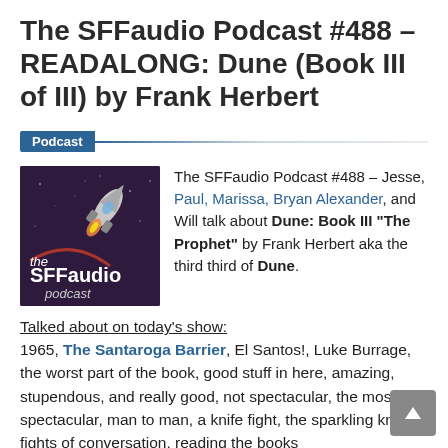The SFFaudio Podcast #488 – READALONG: Dune (Book III of III) by Frank Herbert
Podcast
[Figure (logo): The SFFaudio Podcast logo — dark purple background with a rocket and the text 'the SFFaudio podcast']
The SFFaudio Podcast #488 – Jesse, Paul, Marissa, Bryan Alexander, and Will talk about Dune: Book III "The Prophet" by Frank Herbert aka the third third of Dune.
Talked about on today's show:
1965, The Santaroga Barrier, El Santos!, Luke Burrage, the worst part of the book, good stuff in here, amazing, stupendous, and really good, not spectacular, the most spectacular, man to man, a knife fight, the sparkling knife fights of conversation, reading the books